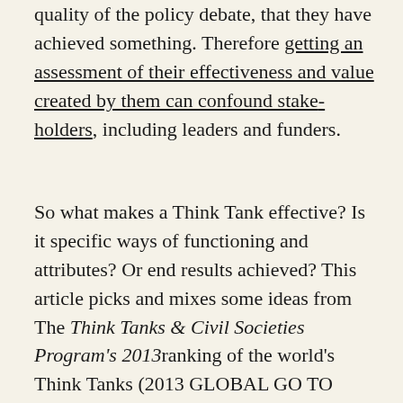quality of the policy debate, that they have achieved something. Therefore getting an assessment of their effectiveness and value created by them can confound stakeholders, including leaders and funders.
So what makes a Think Tank effective? Is it specific ways of functioning and attributes? Or end results achieved? This article picks and mixes some ideas from The Think Tanks & Civil Societies Program's 2013ranking of the world's Think Tanks (2013 GLOBAL GO TO THINK TANK INDEX) and from Think Tank Initiative (TTI) a multi-donor program offering funding and other support to promising Think Tanks in developing countries.